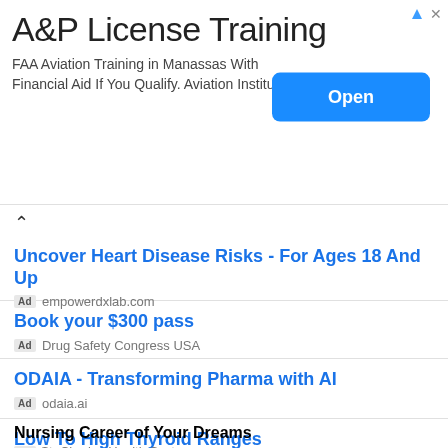[Figure (screenshot): Banner advertisement for A&P License Training. Title: 'A&P License Training'. Body: 'FAA Aviation Training in Manassas With Financial Aid If You Qualify. Aviation Institute'. Blue 'Open' button on the right. AdChoices arrow and close X icons top right.]
Uncover Heart Disease Risks - For Ages 18 And Up
Ad empowerdxlab.com
Book your $300 pass
Ad Drug Safety Congress USA
ODAIA - Transforming Pharma with AI
Ad odaia.ai
Low To High Thyroid Ranges
Ad Thyroid Institute
Nursing Career of Your Dreams
Ad St. Charles Health System